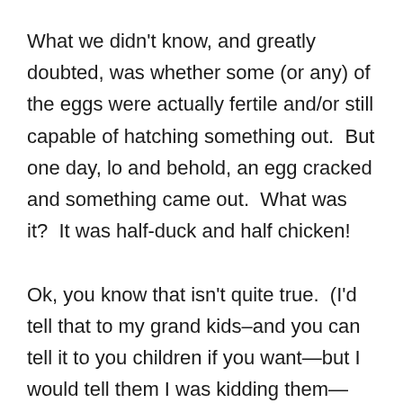What we didn't know, and greatly doubted, was whether some (or any) of the eggs were actually fertile and/or still capable of hatching something out.  But one day, lo and behold, an egg cracked and something came out.  What was it?  It was half-duck and half chicken!

Ok, you know that isn't quite true.  (I'd tell that to my grand kids–and you can tell it to you children if you want—but I would tell them I was kidding them—and you should too!)  But what is true is that the babies (chicklings or duckens), took to their new mother without question.  And mother took to her, well